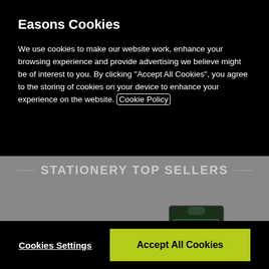Easons Cookies
We use cookies to make our website work, enhance your browsing experience and provide advertising we believe might be of interest to you. By clicking “Accept All Cookies”, you agree to the storing of cookies on your device to enhance your experience on the website. Cookie Policy
Cookies Settings
Accept All Cookies
STATIONERY TOP SELLERS
[Figure (photo): Product image of a stationery item in dark packaging with decorative label, shown against gray background]